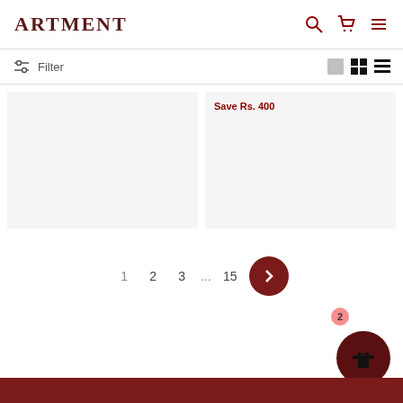ARTMENT
Filter
Save Rs. 400
1  2  3  ...  15  >